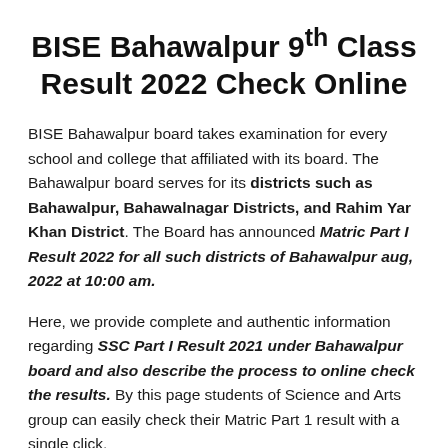BISE Bahawalpur 9th Class Result 2022 Check Online
BISE Bahawalpur board takes examination for every school and college that affiliated with its board. The Bahawalpur board serves for its districts such as Bahawalpur, Bahawalnagar Districts, and Rahim Yar Khan District. The Board has announced Matric Part I Result 2022 for all such districts of Bahawalpur aug, 2022 at 10:00 am.
Here, we provide complete and authentic information regarding SSC Part I Result 2021 under Bahawalpur board and also describe the process to online check the results. By this page students of Science and Arts group can easily check their Matric Part 1 result with a single click.